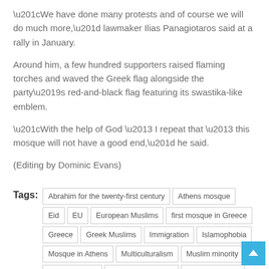“We have done many protests and of course we will do much more,” lawmaker Ilias Panagiotaros said at a rally in January.
Around him, a few hundred supporters raised flaming torches and waved the Greek flag alongside the party’s red-and-black flag featuring its swastika-like emblem.
“With the help of God – I repeat that – this mosque will not have a good end,” he said.
(Editing by Dominic Evans)
Tags: Abrahim for the twenty-first century | Athens mosque | Eid | EU | European Muslims | first mosque in Greece | Greece | Greek Muslims | Immigration | Islamophobia | Mosque in Athens | Multiculturalism | Muslim minority | Muslim Village | orthodox christians | Ottoman empire | Ottoman expulsion from Greece